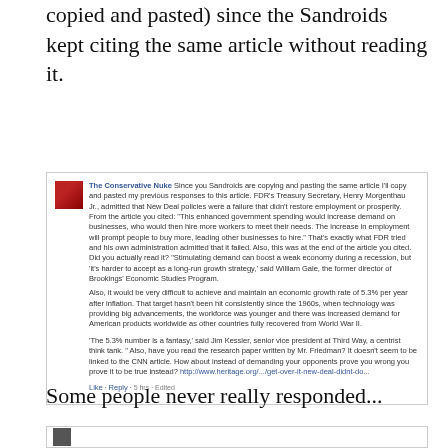Here was the standard response I gave (not copied and pasted) since the Sandroids kept citing the same article without reading it.
[Figure (screenshot): Facebook comment screenshot from 'The Conservative Nuke' discussing FDR's New Deal policies, economic growth rates, and citing a Heritage.org article. Includes Like, Reply, 5 hrs, Edited actions.]
Some people never really responded...
[Figure (screenshot): Bottom portion of another Facebook screenshot, partially visible showing an avatar.]